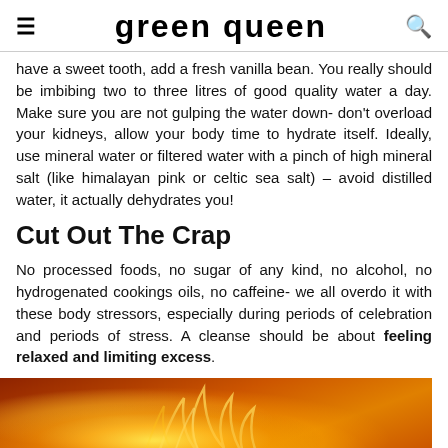≡  green queen  🔍
have a sweet tooth, add a fresh vanilla bean. You really should be imbibing two to three litres of good quality water a day. Make sure you are not gulping the water down- don't overload your kidneys, allow your body time to hydrate itself. Ideally, use mineral water or filtered water with a pinch of high mineral salt (like himalayan pink or celtic sea salt) – avoid distilled water, it actually dehydrates you!
Cut Out The Crap
No processed foods, no sugar of any kind, no alcohol, no hydrogenated cookings oils, no caffeine- we all overdo it with these body stressors, especially during periods of celebration and periods of stress. A cleanse should be about feeling relaxed and limiting excess.
[Figure (photo): A warm orange and yellow glowing light burst image, likely decorative, with abstract flame or sun-like rays against an orange/brown background.]